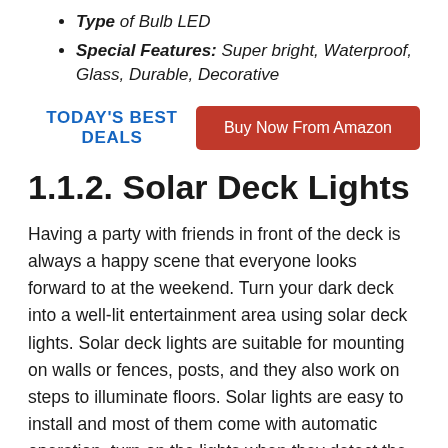Type of Bulb LED
Special Features: Super bright, Waterproof, Glass, Durable, Decorative
TODAY'S BEST DEALS | Buy Now From Amazon
1.1.2. Solar Deck Lights
Having a party with friends in front of the deck is always a happy scene that everyone looks forward to at the weekend. Turn your dark deck into a well-lit entertainment area using solar deck lights. Solar deck lights are suitable for mounting on walls or fences, posts, and they also work on steps to illuminate floors. Solar lights are easy to install and most of them come with automatic operation, turn on the lights when they detect the approaching darkness.
Solar lights offer many sizes, models, and brightness for